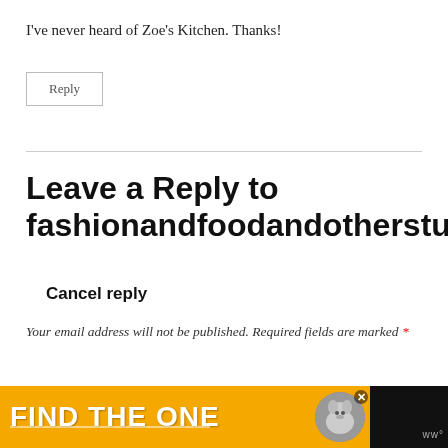I've never heard of Zoe's Kitchen. Thanks!
Reply
Leave a Reply to fashionandfoodandotherstuff
Cancel reply
Your email address will not be published. Required fields are marked *
Comment *
[Figure (infographic): Advertisement banner with yellow background showing text FIND THE ONE with a dog image and close button]